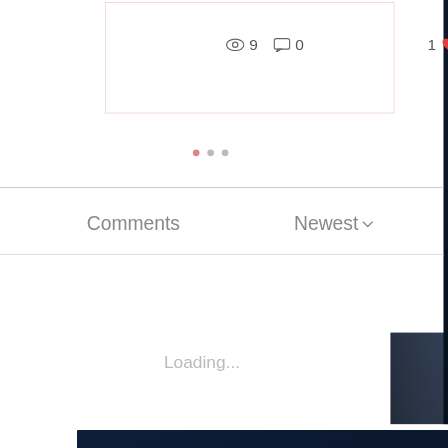[Figure (screenshot): Social post card showing view count (eye icon + 9), comment count (speech bubble + 0), and like count (1 + red heart icon). Card has pink border.]
[Figure (infographic): Pagination dots: one red dot followed by two grey dots indicating carousel position.]
Comments
Newest ∨
Loading...
SIGN UP FOR ALL UPDATES, POSTS & NEWS
Name
Email Address